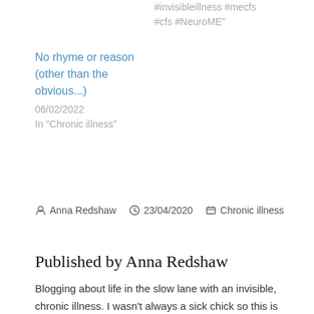#invisibleillness #mecfs #cfs #NeuroME"
No rhyme or reason (other than the obvious...)
06/02/2022
In "Chronic illness"
Anna Redshaw   23/04/2020   Chronic illness
Published by Anna Redshaw
Blogging about life in the slow lane with an invisible, chronic illness. I wasn't always a sick chick so this is somewhat of a life changing experience! View more posts